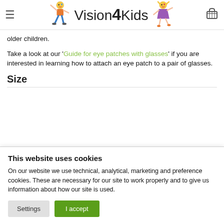Vision4Kids
older children.
Take a look at our 'Guide for eye patches with glasses' if you are interested in learning how to attach an eye patch to a pair of glasses.
Size
This website uses cookies
On our website we use technical, analytical, marketing and preference cookies. These are necessary for our site to work properly and to give us information about how our site is used.
Settings | I accept